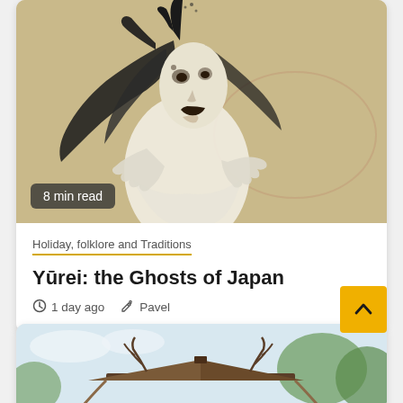[Figure (illustration): Japanese ghost illustration (Yūrei) — a traditional ink drawing of a ghostly female figure with long black flowing hair, pale body, clawed hands, and a menacing expression, on a tan/beige background]
8 min read
Holiday, folklore and Traditions
Yūrei: the Ghosts of Japan
1 day ago   Pavel
[Figure (photo): Partial photo at bottom showing a wooden structure rooftop with trees and sky in the background]